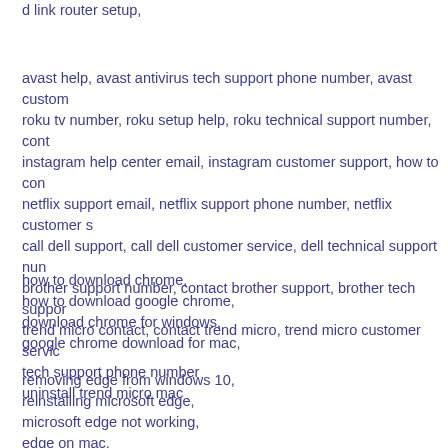d link router setup,
avast help, avast antivirus tech support phone number, avast custom roku tv number, roku setup help, roku technical support number, cont instagram help center email, instagram customer support, how to con netflix support email, netflix support phone number, netflix customer s call dell support, call dell customer service, dell technical support nun brother support number, contact brother support, brother tech suppor trend micro contact, contact trend micro, trend micro customer servic tech support phone number uninstall trend micro mac
how to download chrome,
how to download google chrome,
download chrome for windows,
google chrome download for mac,
removing edge from windows 10,
reinstalling microsoft edge,
microsoft edge not working,
edge on mac,